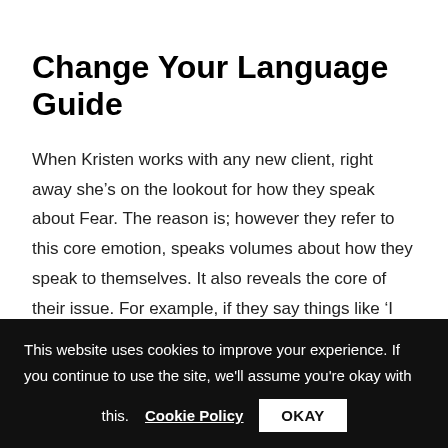Change Your Language Guide
When Kristen works with any new client, right away she’s on the lookout for how they speak about Fear. The reason is; however they refer to this core emotion, speaks volumes about how they speak to themselves. It also reveals the core of their issue. For example, if they say things like ‘I hate fear,’ because fear is such a huge part of our makeup, it’s
This website uses cookies to improve your experience. If you continue to use the site, we'll assume you're okay with this. Cookie Policy OKAY